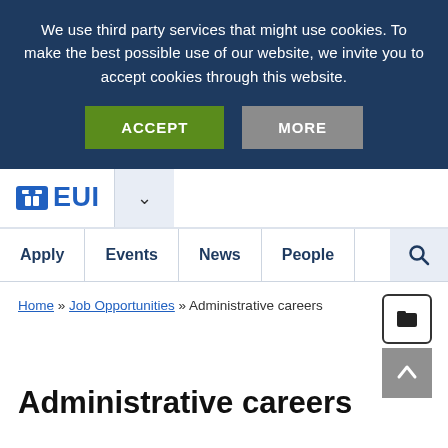We use third party services that might use cookies. To make the best possible use of our website, we invite you to accept cookies through this website.
ACCEPT   MORE
[Figure (logo): EUI logo with arch icon and text EUI in blue]
Apply   Events   News   People   (search icon)
Home » Job Opportunities » Administrative careers
Administrative careers